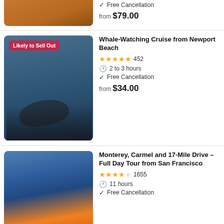[Figure (photo): Partial view of people on orange bikes on a sandy/rocky terrain]
Free Cancellation
from $79.00
[Figure (photo): Whale-watching scene with people on a boat photographing a whale tail, badge says Likely to Sell Out]
Whale-Watching Cruise from Newport Beach
4.5 stars, 452 reviews
2 to 3 hours
Free Cancellation
from $34.00
[Figure (photo): Scenic coastal sunset photo with lone cypress tree on rocky cliff, Monterey/Carmel area]
Monterey, Carmel and 17-Mile Drive - Full Day Tour from San Francisco
4 stars, 1655 reviews
11 hours
Free Cancellation